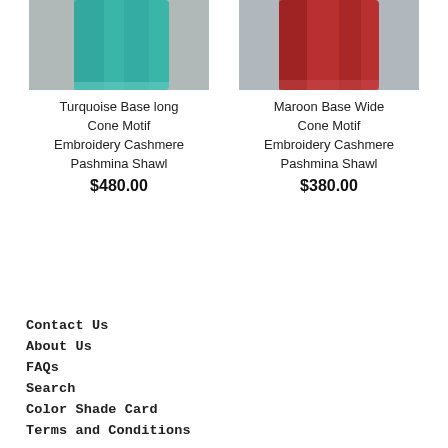[Figure (photo): Turquoise colored cashmere pashmina shawl with cone motif embroidery, folded and displayed against gray background]
Turquoise Base long Cone Motif Embroidery Cashmere Pashmina Shawl
$480.00
[Figure (photo): Maroon colored cashmere pashmina shawl with wide cone motif embroidery, folded and displayed against gray background]
Maroon Base Wide Cone Motif Embroidery Cashmere Pashmina Shawl
$380.00
Contact Us
About Us
FAQs
Search
Color Shade Card
Terms and Conditions